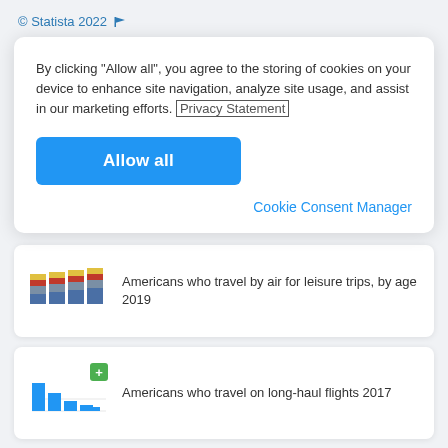© Statista 2022
By clicking "Allow all", you agree to the storing of cookies on your device to enhance site navigation, analyze site usage, and assist in our marketing efforts. Privacy Statement
Allow all
Cookie Consent Manager
[Figure (stacked-bar-chart): Small stacked bar chart thumbnail showing Americans who travel by air for leisure trips, by age 2019]
Americans who travel by air for leisure trips, by age 2019
[Figure (bar-chart): Small bar chart thumbnail showing Americans who travel on long-haul flights 2017 with decreasing bar heights]
Americans who travel on long-haul flights 2017